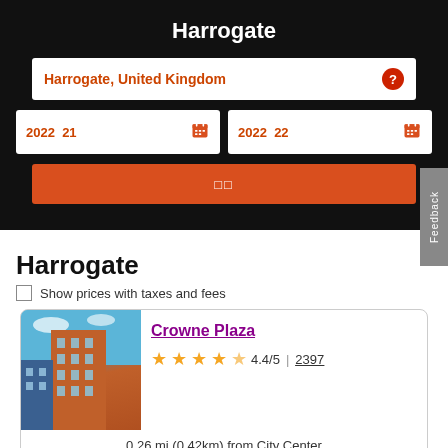Harrogate
Harrogate, United Kingdom
2022 □□ 21 □□□
2022 □□ 22 □□□
□□
Harrogate
Show prices with taxes and fees
Crowne Plaza
4.4/5 | 2397
0.26 mi (0.42km) from City Center